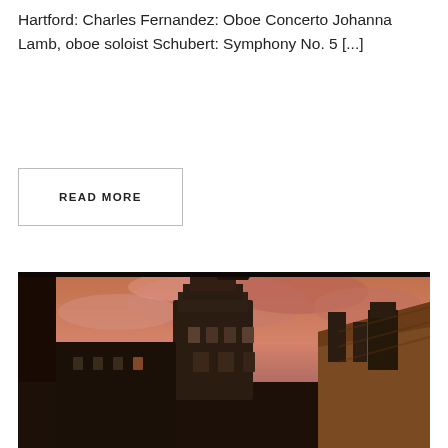Hartford: Charles Fernandez: Oboe Concerto Johanna Lamb, oboe soloist Schubert: Symphony No. 5 [...]
READ MORE
[Figure (photo): Photograph of European city rooftops with an ornate stone tower and steep slate roofs under a dramatic orange-pink cloudy sunset sky, viewed as if through a dark window frame.]